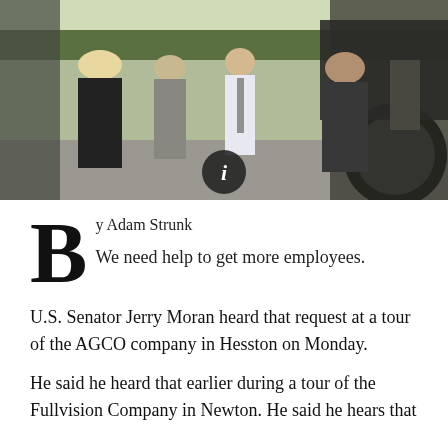[Figure (photo): Outdoor scene showing U.S. Senator Jerry Moran being interviewed or speaking with a group of people, including women in dark clothing, in a parking area near large agricultural tractors. A circular info icon overlay appears at the bottom center of the image.]
By Adam Strunk
We need help to get more employees.
U.S. Senator Jerry Moran heard that request at a tour of the AGCO company in Hesston on Monday.
He said he heard that earlier during a tour of the Fullvision Company in Newton. He said he hears that